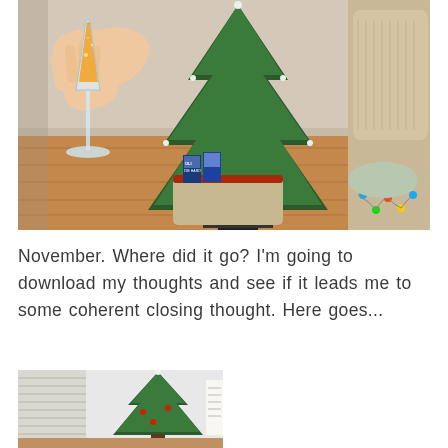[Figure (photo): A hand holding a champagne flute with orange juice (mimosa) in a living room setting with a decorated Christmas tree, hardwood floors, a fabric storage box with DVDs, and a beige armchair with Christmas lights.]
November. Where did it go? I'm going to download my thoughts and see if it leads me to some coherent closing thought. Here goes...
[Figure (photo): A small artificial Christmas tree with white-tipped branches and red ornaments, placed indoors next to window blinds and what appears to be a basket.]